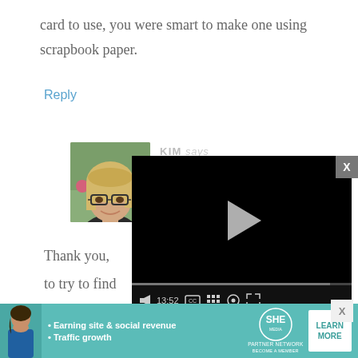card to use, you were smart to make one using scrapbook paper.
Reply
KIM says
[Figure (photo): Profile photo of a woman with blonde hair and glasses, smiling, outdoors with flowers in the background]
[Figure (screenshot): Embedded video player showing a paused video (black screen) with play button, timestamp 13:52, and controls for mute, CC, chapters, settings, and fullscreen]
Thank you,
to try to find
year.
[Figure (infographic): SHE Partner Network advertisement banner with bullet points: Earning site & social revenue, Traffic growth. Features a woman, SHE logo, and LEARN MORE button.]